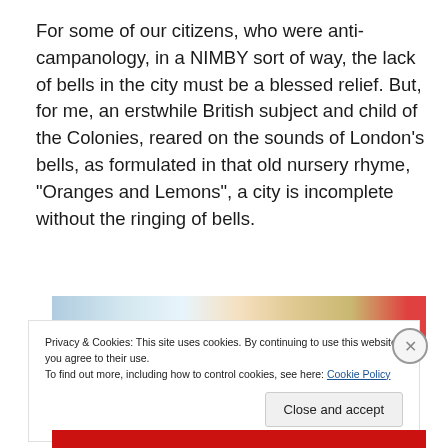For some of our citizens, who were anti-campanology, in a NIMBY sort of way, the lack of bells in the city must be a blessed relief. But, for me, an erstwhile British subject and child of the Colonies, reared on the sounds of London's bells, as formulated in that old nursery rhyme, "Oranges and Lemons", a city is incomplete without the ringing of bells.
[Figure (photo): Partial view of a colorful image strip, partially obscured by cookie consent banner]
Privacy & Cookies: This site uses cookies. By continuing to use this website, you agree to their use.
To find out more, including how to control cookies, see here: Cookie Policy
Close and accept